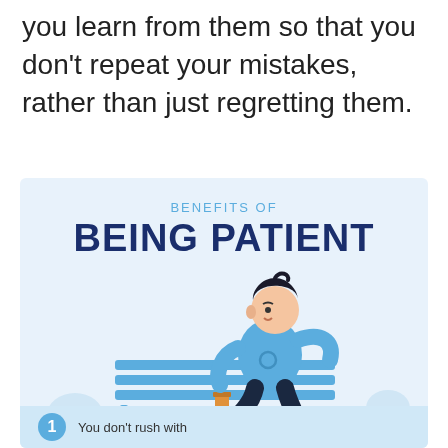you learn from them so that you don't repeat your mistakes, rather than just regretting them.
[Figure (infographic): Infographic titled 'Benefits of Being Patient' showing an illustrated man sitting on a bench with a cup, on a light blue background. At the bottom is a numbered item starting with '1' and text 'You don't rush with...']